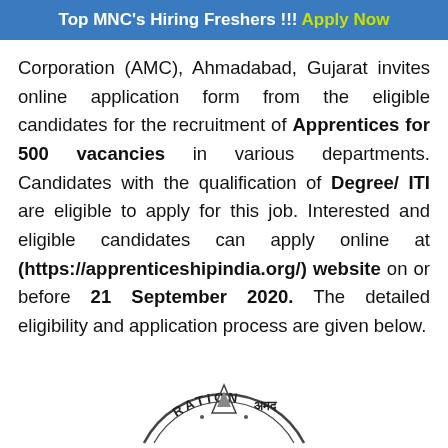Top MNC's Hiring Freshers !!! Apply Now
Corporation (AMC), Ahmadabad, Gujarat invites online application form from the eligible candidates for the recruitment of Apprentices for 500 vacancies in various departments. Candidates with the qualification of Degree/ ITI are eligible to apply for this job. Interested and eligible candidates can apply online at (https://apprenticeshipindia.org/) website on or before 21 September 2020. The detailed eligibility and application process are given below.
[Figure (logo): Partial circular stamp/seal of Ahmadabad Municipal Corporation with text RATION and Hindi text अमद]